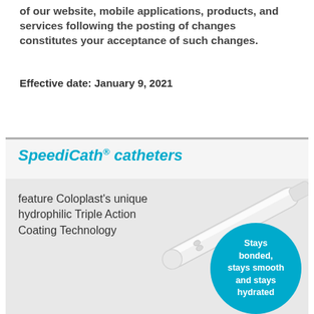of our website, mobile applications, products, and services following the posting of changes constitutes your acceptance of such changes.
Effective date: January 9, 2021
[Figure (illustration): SpeediCath catheters advertisement showing a catheter with hydrophilic Triple Action Coating Technology. Text reads: 'SpeediCath catheters feature Coloplast's unique hydrophilic Triple Action Coating Technology'. A teal circle badge reads 'Stays bonded, stays smooth and stays hydrated'.]